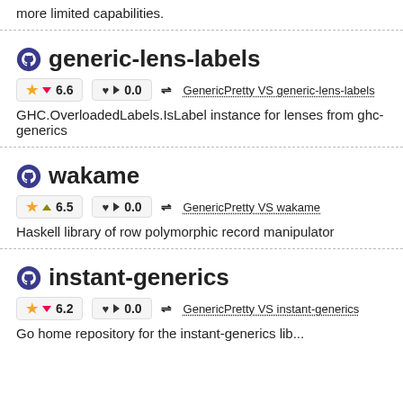more limited capabilities.
generic-lens-labels
★ ▼ 6.6   ♥ ▶ 0.0   ⇌ GenericPretty VS generic-lens-labels
GHC.OverloadedLabels.IsLabel instance for lenses from ghc-generics
wakame
★ ▲ 6.5   ♥ ▶ 0.0   ⇌ GenericPretty VS wakame
Haskell library of row polymorphic record manipulator
instant-generics
★ ▼ 6.2   ♥ ▶ 0.0   ⇌ GenericPretty VS instant-generics
Go home repository for the instant-generics lib...